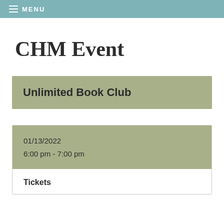≡ MENU
CHM Event
Unlimited Book Club
01/13/2022
6:00 pm - 7:00 pm
Tickets